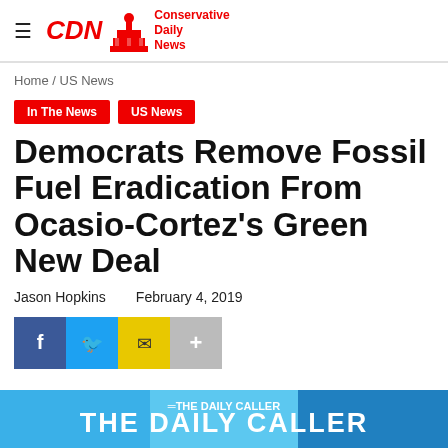CDN Conservative Daily News
Home / US News
In The News
US News
Democrats Remove Fossil Fuel Eradication From Ocasio-Cortez's Green New Deal
Jason Hopkins   February 4, 2019
[Figure (other): Social share buttons: Facebook, Twitter, Email, More]
[Figure (logo): The Daily Caller logo at bottom of page]